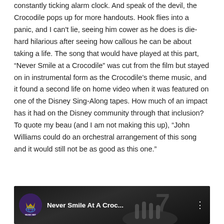constantly ticking alarm clock. And speak of the devil, the Crocodile pops up for more handouts. Hook flies into a panic, and I can't lie, seeing him cower as he does is die-hard hilarious after seeing how callous he can be about taking a life. The song that would have played at this part, “Never Smile at a Crocodile” was cut from the film but stayed on in instrumental form as the Crocodile’s theme music, and it found a second life on home video when it was featured on one of the Disney Sing-Along tapes. How much of an impact has it had on the Disney community through that inclusion? To quote my beau (and I am not making this up), “John Williams could do an orchestral arrangement of this song and it would still not be as good as this one.”
[Figure (screenshot): YouTube video thumbnail showing 'Never Smile At A Croc...' with ACME Music Net logo (purple circle with crown) on the left and three-dot menu on the right. Dark background with a hand/piano image visible.]